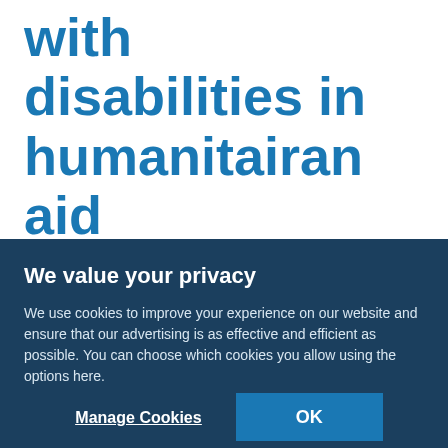with disabilities in humanitairan aid
Emergency
In crisis situations, children with disabilities are often excluded from humanitarian assistance. Handicap International and UNICEF are working
We value your privacy
We use cookies to improve your experience on our website and ensure that our advertising is as effective and efficient as possible. You can choose which cookies you allow using the options here.
Manage Cookies
OK